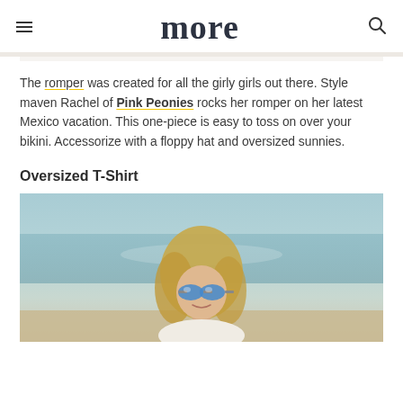more
The romper was created for all the girly girls out there. Style maven Rachel of Pink Peonies rocks her romper on her latest Mexico vacation. This one-piece is easy to toss on over your bikini. Accessorize with a floppy hat and oversized sunnies.
Oversized T-Shirt
[Figure (photo): Blonde woman wearing blue mirrored aviator sunglasses and smiling, photographed at a beach with blurred background of water and sky.]